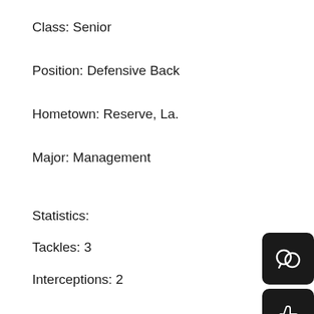Class: Senior
Position: Defensive Back
Hometown: Reserve, La.
Major: Management
Statistics:
Tackles: 3
Interceptions: 2
Interception return yards: 16
Breakups: 1